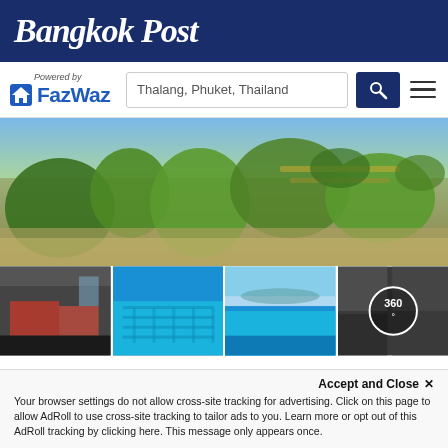Bangkok Post
[Figure (logo): FazWaz logo with 'Powered by' text and search bar showing 'Thalang, Phuket, Thailand']
[Figure (photo): Main photo of a tropical villa garden with lush greenery and landscaping in Thalang, Phuket]
[Figure (photo): Four thumbnail photos: interior with red sofa, infinity pool, sea view pool, and 360-degree view icon]
5 Bedroom House for rent in Thalang, Phuket
This property is a 820 SqM villa with 5 bedrooms and 6 bathrooms that is available for rent.. You can rent this villa for ฿120,000 per month and it is also available for sale for ฿35,000,000. and...
5   6   820 SqM   House
Accept and Close ✕
Your browser settings do not allow cross-site tracking for advertising. Click on this page to allow AdRoll to use cross-site tracking to tailor ads to you. Learn more or opt out of this AdRoll tracking by clicking here. This message only appears once.